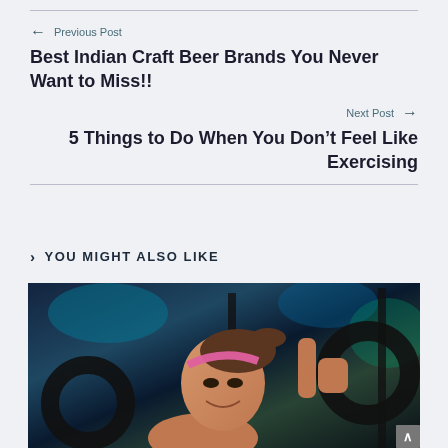← Previous Post
Best Indian Craft Beer Brands You Never Want to Miss!!
Next Post →
5 Things to Do When You Don't Feel Like Exercising
› YOU MIGHT ALSO LIKE
[Figure (photo): Woman in gym holding gymnastic rings, wearing pink headband, smiling at camera. Gym equipment visible in background.]